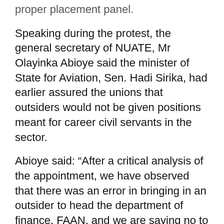proper placement panel.
Speaking during the protest, the general secretary of NUATE, Mr Olayinka Abioye said the minister of State for Aviation, Sen. Hadi Sirika, had earlier assured the unions that outsiders would not be given positions meant for career civil servants in the sector.
Abioye said: “After a critical analysis of the appointment, we have observed that there was an error in bringing in an outsider to head the department of finance, FAAN, and we are saying no to such appointment. The position he is being given is a career position and the minister has already told us that he doesn’t want outsiders to come and hijack any position in FAAN.”
He said the unions are studying other political appointments made in the Nigerian Civil Aviation Authority (NCAA) and the Accident Investigation Bureau, AIB. “We have found some errors in those appointments and